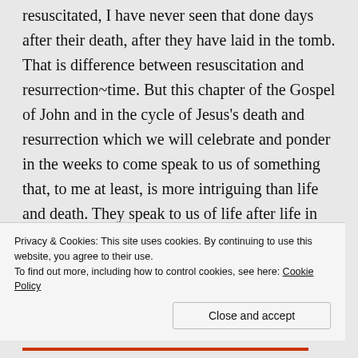resuscitated, I have never seen that done days after their death, after they have laid in the tomb. That is difference between resuscitation and resurrection~time. But this chapter of the Gospel of John and in the cycle of Jesus's death and resurrection which we will celebrate and ponder in the weeks to come speak to us of something that, to me at least, is more intriguing than life and death. They speak to us of life after life in the flesh. What is beyond death? We don't have answers for that. But as I ponder John 11, two things seem clear that Jesus loved his friend
Privacy & Cookies: This site uses cookies. By continuing to use this website, you agree to their use.
To find out more, including how to control cookies, see here: Cookie Policy
Close and accept